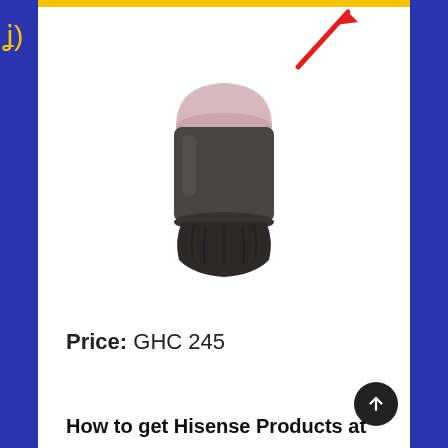[Figure (photo): A small dark cylindrical blender grinding jar with a translucent pinkish lid, shown against a white background. A red diagonal arrow/lightning bolt graphic overlays the top portion of the image.]
Price: GHC 245
How to get Hisense Products at